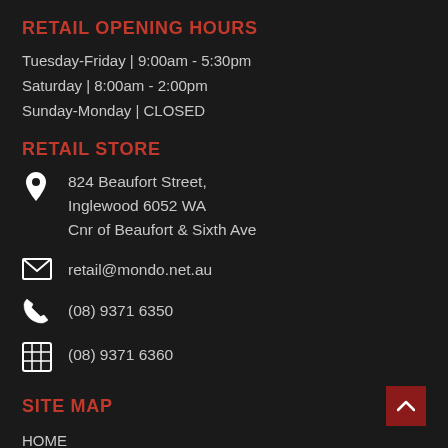RETAIL OPENING HOURS
Tuesday-Friday | 9:00am - 5:30pm
Saturday | 8:00am - 2:00pm
Sunday-Monday | CLOSED
RETAIL STORE
824 Beaufort Street, Inglewood 6052 WA Cnr of Beaufort & Sixth Ave
retail@mondo.net.au
(08) 9371 6350
(08) 9371 6360
SITE MAP
HOME